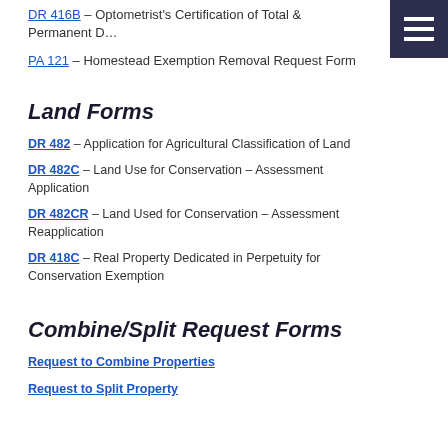DR 416B – Optometrist's Certification of Total & Permanent D…
PA 121 – Homestead Exemption Removal Request Form
Land Forms
DR 482 – Application for Agricultural Classification of Land
DR 482C – Land Use for Conservation – Assessment Application
DR 482CR – Land Used for Conservation – Assessment Reapplication
DR 418C – Real Property Dedicated in Perpetuity for Conservation Exemption
Combine/Split Request Forms
Request to Combine Properties
Request to Split Property